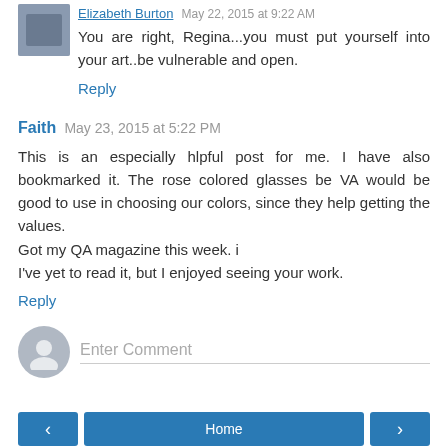Elizabeth Burton  May 22, 2015 at 9:22 AM
You are right, Regina...you must put yourself into your art..be vulnerable and open.
Reply
Faith  May 23, 2015 at 5:22 PM
This is an especially hlpful post for me. I have also bookmarked it. The rose colored glasses be VA would be good to use in choosing our colors, since they help getting the values.
Got my QA magazine this week. i
I've yet to read it, but I enjoyed seeing your work.
Reply
Enter Comment